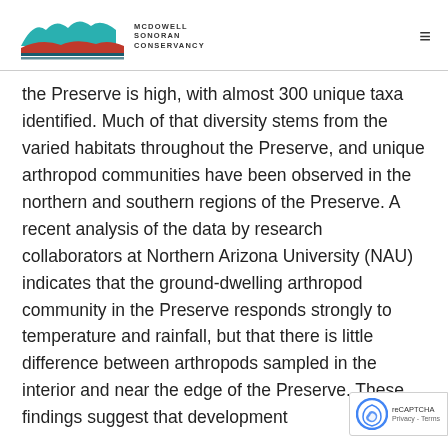McDowell Sonoran Conservancy
the Preserve is high, with almost 300 unique taxa identified. Much of that diversity stems from the varied habitats throughout the Preserve, and unique arthropod communities have been observed in the northern and southern regions of the Preserve. A recent analysis of the data by research collaborators at Northern Arizona University (NAU) indicates that the ground-dwelling arthropod community in the Preserve responds strongly to temperature and rainfall, but that there is little difference between arthropods sampled in the interior and near the edge of the Preserve. These findings suggest that development